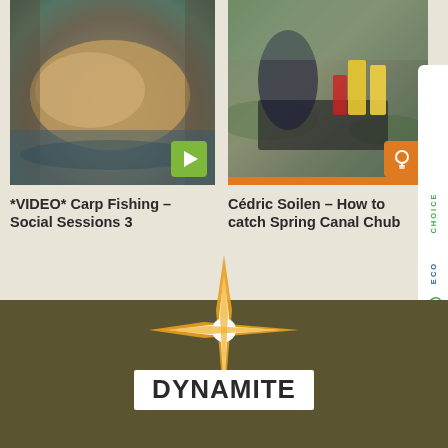[Figure (photo): Man holding large carp fish over water, with green play button overlay]
*VIDEO* Carp Fishing – Social Sessions 3
[Figure (photo): Fishing products/bait laid out on ground near water, with orange lightbulb tip icon overlay]
Cédric Soilen – How to catch Spring Canal Chub
[Figure (logo): EcoChoice vertical sidebar logo with fish icon]
[Figure (logo): Dynamite Baits starburst logo with text DYNAMITE on dark olive background]